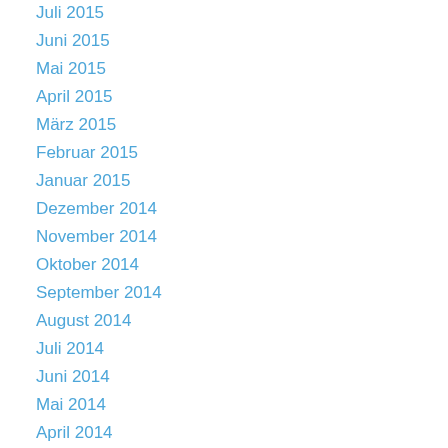Juli 2015
Juni 2015
Mai 2015
April 2015
März 2015
Februar 2015
Januar 2015
Dezember 2014
November 2014
Oktober 2014
September 2014
August 2014
Juli 2014
Juni 2014
Mai 2014
April 2014
März 2014
Februar 2014
Januar 2014
Dezember 2013